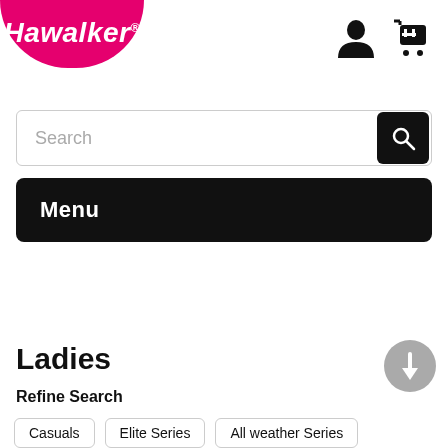[Figure (logo): Hawalker brand logo in pink/magenta color with white italic text on pink rounded background]
[Figure (illustration): User/account icon (person silhouette) in black]
[Figure (illustration): Shopping cart icon in black]
Search
Menu
Ladies
Refine Search
Casuals
Elite Series
All weather Series